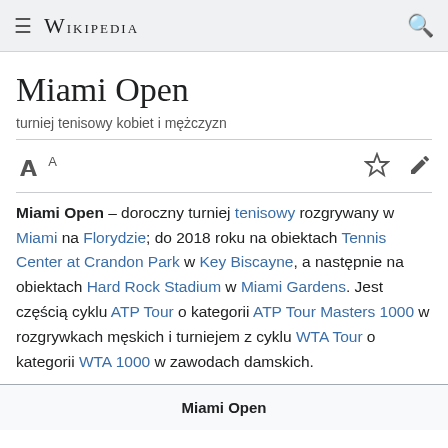≡ WIKIPEDIA 🔍
Miami Open
turniej tenisowy kobiet i mężczyzn
Miami Open – doroczny turniej tenisowy rozgrywany w Miami na Florydzie; do 2018 roku na obiektach Tennis Center at Crandon Park w Key Biscayne, a następnie na obiektach Hard Rock Stadium w Miami Gardens. Jest częścią cyklu ATP Tour o kategorii ATP Tour Masters 1000 w rozgrywkach męskich i turniejem z cyklu WTA Tour o kategorii WTA 1000 w zawodach damskich.
| Miami Open |
| --- |